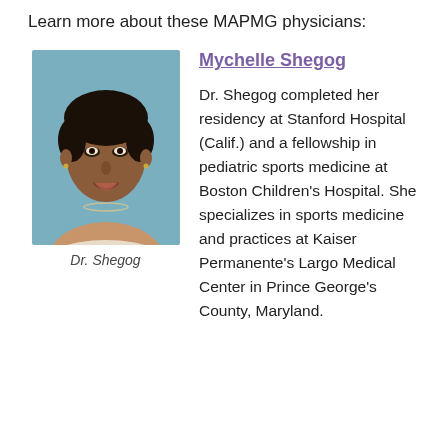Learn more about these MAPMG physicians:
[Figure (photo): Headshot photo of Dr. Shegog, a smiling woman with short hair, wearing a necklace and light-colored top, photographed against a blue background.]
Dr. Shegog
Mychelle Shegog
Dr. Shegog completed her residency at Stanford Hospital (Calif.) and a fellowship in pediatric sports medicine at Boston Children's Hospital. She specializes in sports medicine and practices at Kaiser Permanente's Largo Medical Center in Prince George's County, Maryland.